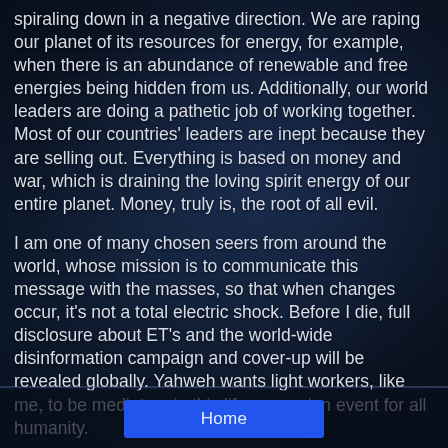spiraling down in a negative direction. We are raping our planet of its resources for energy, for example, when there is an abundance of renewable and free energies being hidden from us. Additionally, our world leaders are doing a pathetic job of working together. Most of our countries' leaders are inept because they are selling out. Everything is based on money and war, which is draining the loving spirit energy of our entire planet. Money, truly is, the root of all evil.
I am one of many chosen seers from around the world, whose mission is to communicate this message with the masses, so that when changes occur, it's not a total electric shock. Before I die, full disclosure about ET's and the world-wide disinformation campaign and cover-up will be revealed globally. Yahweh wants light workers, like me, to be mediators in this life-ascension event for all humanity.
Home